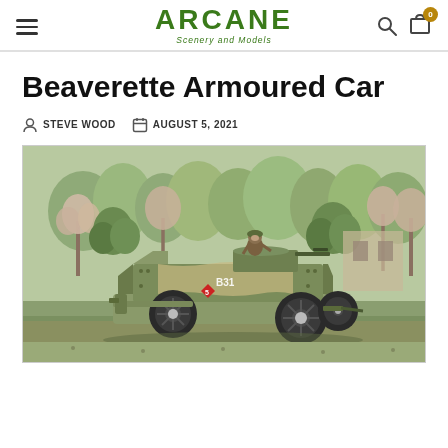ARCANE Scenery and Models — navigation header
Beaverette Armoured Car
STEVE WOOD   AUGUST 5, 2021
[Figure (photo): Painted miniature model of a Beaverette Armoured Car with camouflage paint scheme, number B31 and a red diamond insignia, a soldier figure in the open turret, set on a diorama base with model trees in the background.]